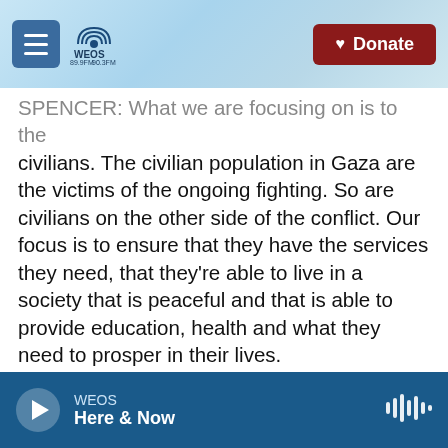WEOS 89.9FM 90.3FM Geneva — Donate
SPENCER: What we are focusing on is to the civilians. The civilian population in Gaza are the victims of the ongoing fighting. So are civilians on the other side of the conflict. Our focus is to ensure that they have the services they need, that they're able to live in a society that is peaceful and that is able to provide education, health and what they need to prosper in their lives.
So certainly, yes, right now we're focusing on providing the immediate needs that they are in. You know, they are asking us for clean drinking water. They're asking us for safety. And they've taken shelter in our schools, and we're doing somewhat
WEOS  Here & Now